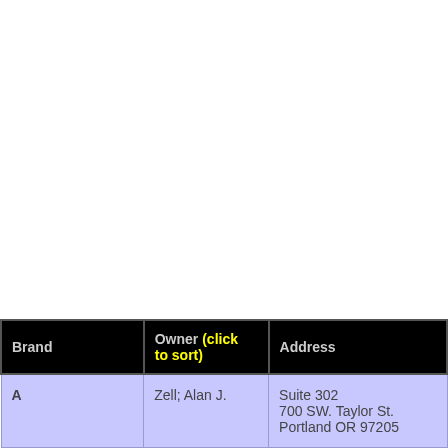| Brand | Owner (click to sort) | Address |
| --- | --- | --- |
| A | Zell; Alan J. | Suite 302
700 SW. Taylor St.
Portland OR 97205 |